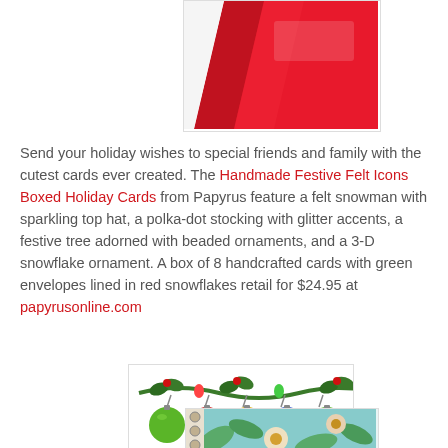[Figure (photo): Partial view of a red holiday card box from Papyrus, showing the corner of the box against a white background.]
Send your holiday wishes to special friends and family with the cutest cards ever created. The Handmade Festive Felt Icons Boxed Holiday Cards from Papyrus feature a felt snowman with sparkling top hat, a polka-dot stocking with glitter accents, a festive tree adorned with beaded ornaments, and a 3-D snowflake ornament. A box of 8 handcrafted cards with green envelopes lined in red snowflakes retail for $24.95 at papyrusonline.com
[Figure (illustration): Decorative holiday ornament border showing colorful Christmas ornaments in green, red, yellow, and blue hanging from a garland of holly and lights.]
[Figure (photo): Partial view of a floral holiday card with teal/mint background and colorful flowers and leaves pattern.]